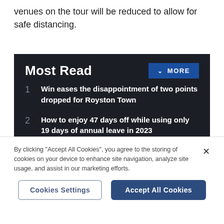venues on the tour will be reduced to allow for safe distancing.
Most Read
1 Win eases the disappointment of two points dropped for Royston Town
2 How to enjoy 47 days off while using only 19 days of annual leave in 2023
3 Warning of pub closures as landlords face 300pc increase in energy bills
By clicking "Accept All Cookies", you agree to the storing of cookies on your device to enhance site navigation, analyze site usage, and assist in our marketing efforts.